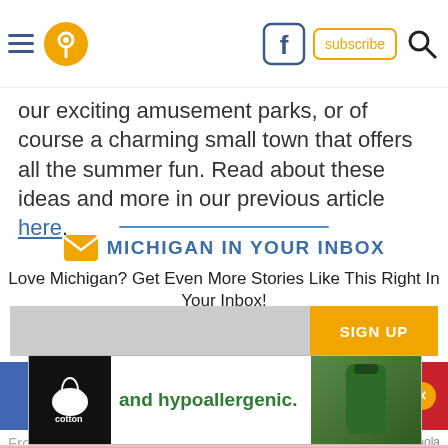Navigation header with menu, location icon, Facebook, subscribe, search
our exciting amusement parks, or of course a charming small town that offers all the summer fun. Read about these ideas and more in our previous article here.
[Figure (infographic): Michigan In Your Inbox email subscription section with envelope icon]
Love Michigan? Get Even More Stories Like This Right In Your Inbox!
Share button and Pin it button
[Figure (photo): Advertisement banner for cotton hypoallergenic product with green pants image]
From T... by Taboola
[Figure (photo): Bottom image showing hair or white fluffy content on pink background]